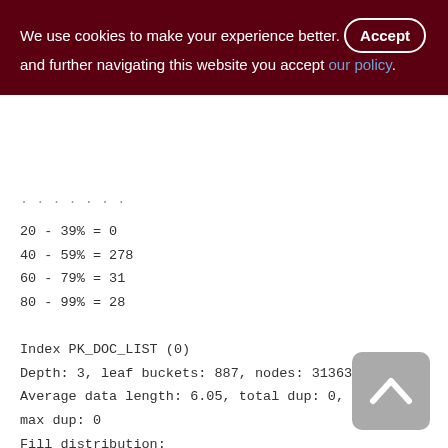We use cookies to make your experience better. By clicking Accept and further navigating this website you accept our policy.
20 - 39% = 0
40 - 59% = 278
60 - 79% = 31
80 - 99% = 28

Index PK_DOC_LIST (0)
Depth: 3, leaf buckets: 887, nodes: 313638
Average data length: 6.05, total dup: 0,
max dup: 0
Fill distribution:
0 - 19% = 149
20 - 39% = 169